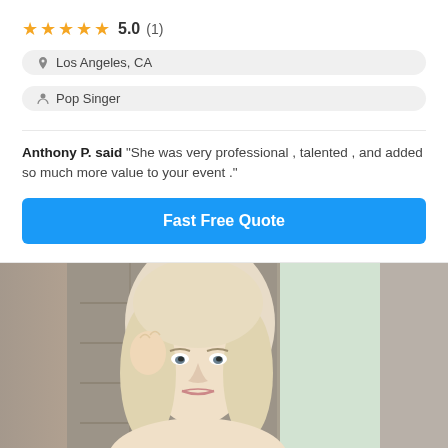★★★★★ 5.0 (1)
Los Angeles, CA
Pop Singer
Anthony P. said "She was very professional , talented , and added so much more value to your event ."
Fast Free Quote
[Figure (photo): Blonde woman leaning against a stone wall, portrait style photo. Left and right edges are blurred. Center shows a smiling blonde woman with long hair.]